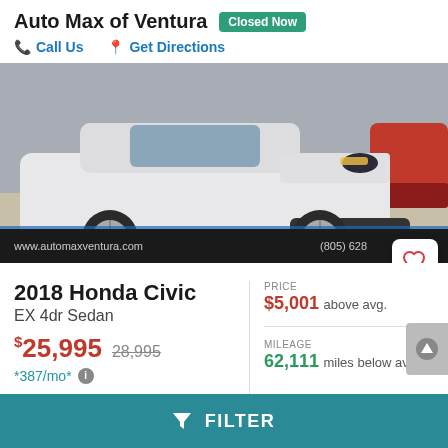Auto Max of Ventura  Closed Now
Call Us    Get Directions
[Figure (photo): White 2018 Honda Civic EX 4dr Sedan photographed from the front-left angle in a dealership lot. A red car is partially visible in the background. The dealership overlay at the bottom shows www.automaxventura.com and (805) 628-...]
2018 Honda Civic
EX 4dr Sedan
$25,995  $28,995
*387/mo*
21,000 miles
PRICE
$5,001 above avg.
MILEAGE
62,111 miles below avg.
FILTER